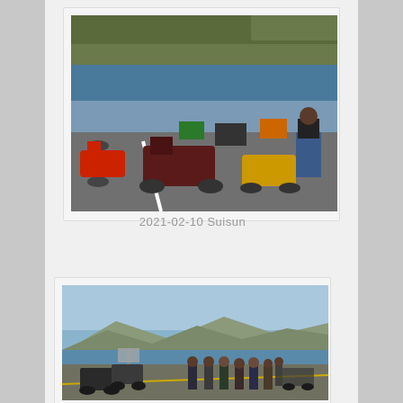[Figure (photo): Motorcycles parked in a lot near a lake with hills in the background. Several motorcycles including red and yellow bikes visible. A person stands with their back to camera on the right.]
2021-02-10 Suisun
[Figure (photo): Group of motorcyclists standing near their bikes on a paved area beside a lake or bay with mountains in the background under a blue sky.]